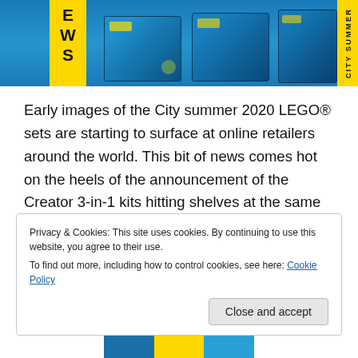[Figure (photo): LEGO City summer 2020 set boxes displayed in a row against a blue ocean-themed background, with a yellow banner on the left showing 'E W S' text and 'CITY SUMMER' text on the right yellow bar.]
Early images of the City summer 2020 LEGO® sets are starting to surface at online retailers around the world. This bit of news comes hot on the heels of the announcement of the Creator 3-in-1 kits hitting shelves at the same time. Interestingly, this City news brings with it the science sub-theme of the year. Consequently, it looks like a
Privacy & Cookies: This site uses cookies. By continuing to use this website, you agree to their use.
To find out more, including how to control cookies, see here: Cookie Policy